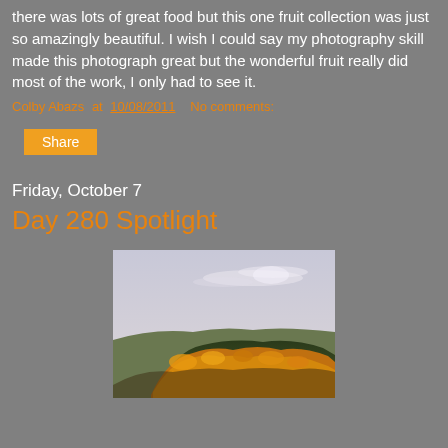there was lots of great food but this one fruit collection was just so amazingly beautiful. I wish I could say my photography skill made this photograph great but the wonderful fruit really did most of the work, I only had to see it.
Colby Abazs at 10/08/2011   No comments:
Share
Friday, October 7
Day 280 Spotlight
[Figure (photo): Landscape photo showing a hillside covered in autumn-colored trees with orange and yellow foliage under a pale overcast sky with light cloud cover.]